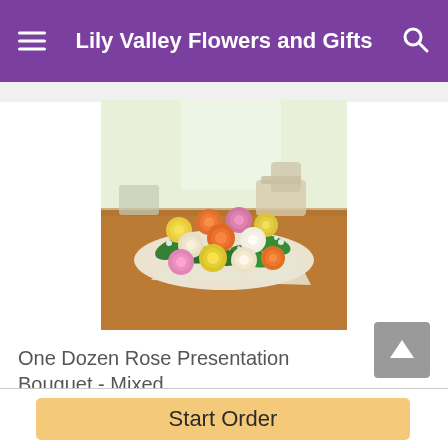Lily Valley Flowers and Gifts
[Figure (photo): A bouquet of one dozen mixed-color roses (yellow, orange, pink, cream, white) arranged on a wooden surface with white wrapping paper and baby's breath, in a bright indoor setting.]
One Dozen Rose Presentation Bouquet - Mixed
Start Order